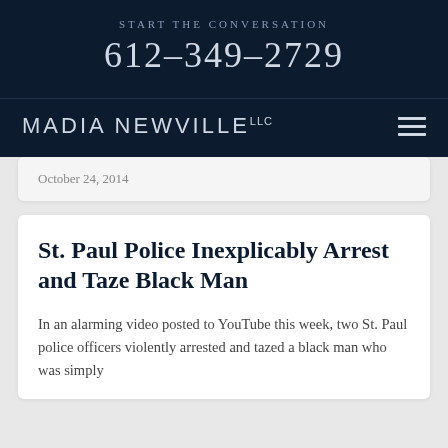START THE CONVERSATION
612-349-2729
MADIA NEWVILLE LLC
October 24, 2014
St. Paul Police Inexplicably Arrest and Taze Black Man
In an alarming video posted to YouTube this week, two St. Paul police officers violently arrested and tazed a black man who was simply